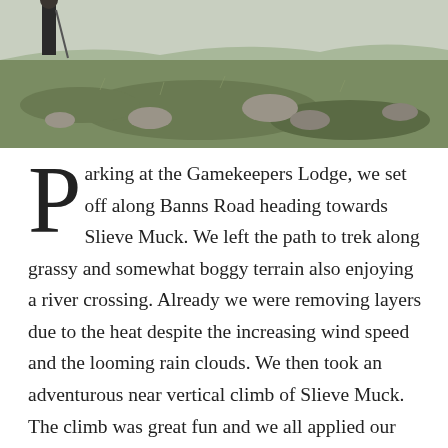[Figure (photo): Outdoor photo showing a rocky, grassy hillside landscape with a person visible in the upper left wearing dark clothing and holding a walking pole. Rocks and green grass are visible across the terrain under an overcast sky.]
Parking at the Gamekeepers Lodge, we set off along Banns Road heading towards Slieve Muck. We left the path to trek along grassy and somewhat boggy terrain also enjoying a river crossing. Already we were removing layers due to the heat despite the increasing wind speed and the looming rain clouds. We then took an adventurous near vertical climb of Slieve Muck. The climb was great fun and we all applied our own methods of ascension. As we ascended the wind intensified and became more ferocious at the top even attempting to knock us off our feet. We battled through the piercing rain to take shelter at the slope facing Pigeon Rock Mountain.